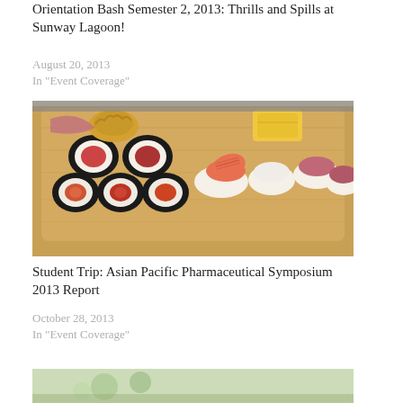Orientation Bash Semester 2, 2013: Thrills and Spills at Sunway Lagoon!
August 20, 2013
In "Event Coverage"
[Figure (photo): Sushi platter on a wooden board with maki rolls, nigiri with shrimp, scallop, and tuna pieces]
Student Trip: Asian Pacific Pharmaceutical Symposium 2013 Report
October 28, 2013
In "Event Coverage"
[Figure (photo): Partial outdoor photo, cut off at bottom of page]